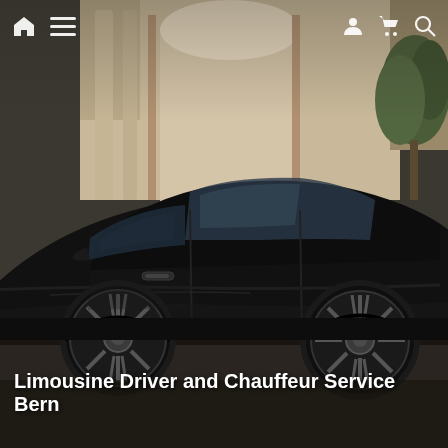[Figure (photo): Black luxury sedan (Aston Martin or similar), photographed from the side, parked in front of an ornate building with columns and decorative elements, with a tree/plant visible on the right side. The car has dark alloy wheels and a glossy black finish.]
🏠 ☰   👤 🛒 🔍
Limousine Driver and Chauffeur Service Bern